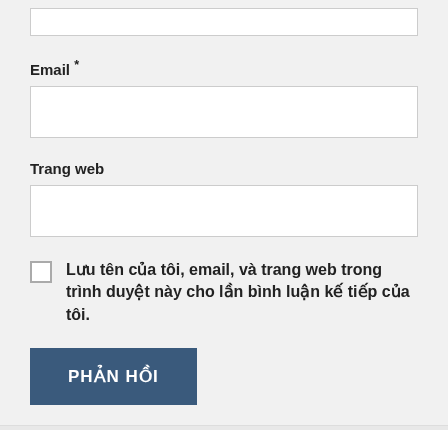Email *
Trang web
Lưu tên của tôi, email, và trang web trong trình duyệt này cho lần bình luận kế tiếp của tôi.
PHẢN HỒI
Đồng Nai sẽ có thêm 6.500ha đất công nghiệp
Tháng Mười Hai 18, 2020